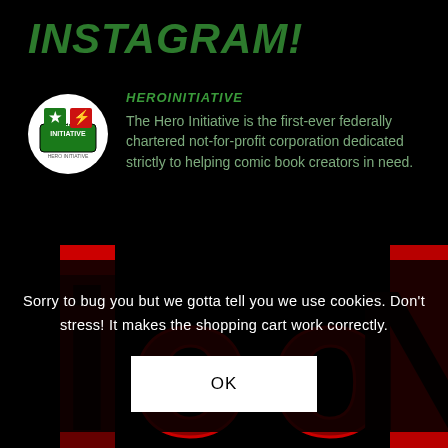INSTAGRAM!
[Figure (logo): Hero Initiative circular logo with white background showing a superhero figure and text HERO INITIATIVE]
HEROINITIATIVE
The Hero Initiative is the first-ever federally chartered not-for-profit corporation dedicated strictly to helping comic book creators in need.
[Figure (illustration): Large stylized text 'ICON' in red and black letters forming a decorative background element spanning the lower half of the page]
Sorry to bug you but we gotta tell you we use cookies. Don't stress! It makes the shopping cart work correctly.
OK